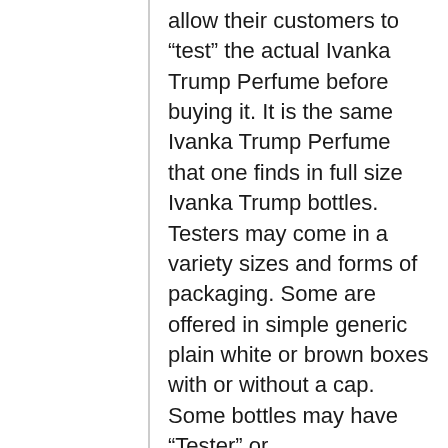allow their customers to “test” the actual Ivanka Trump Perfume before buying it. It is the same Ivanka Trump Perfume that one finds in full size Ivanka Trump bottles. Testers may come in a variety sizes and forms of packaging. Some are offered in simple generic plain white or brown boxes with or without a cap. Some bottles may have “Tester” or “Demonstration” written on the bottle. Some are even without boxes, while others may come ornately wrapped. Regardless of packaging, the quality of the perfume is not affected. The contents of testers